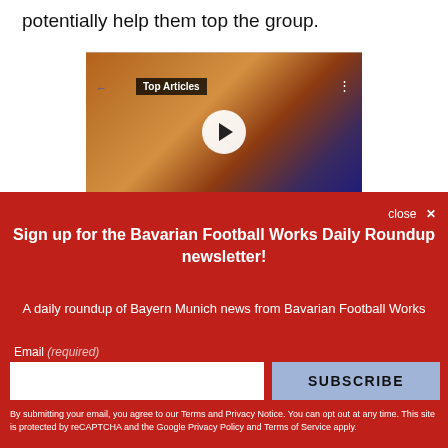potentially help them top the group.
[Figure (screenshot): Video player thumbnail showing a crowd of football fans with orange smoke flares, with a 'Top Articles' label overlay and a white play button circle in the center.]
close ✕
Sign up for the Bavarian Football Works Daily Roundup newsletter!
A daily roundup of Bayern Munich news from Bavarian Football Works
Email (required)
SUBSCRIBE
By submitting your email, you agree to our Terms and Privacy Notice. You can opt out at any time. This site is protected by reCAPTCHA and the Google Privacy Policy and Terms of Service apply.